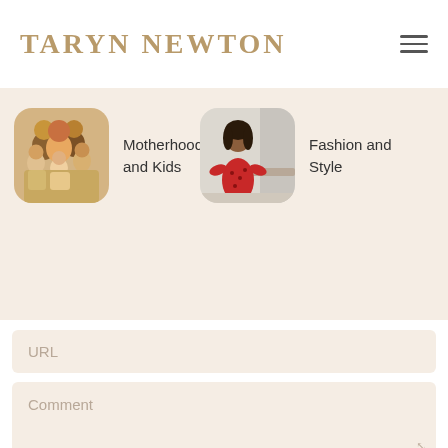TARYN NEWTON
[Figure (illustration): Hamburger/menu icon with three horizontal lines]
[Figure (photo): Family group photo with adults and children on warm beige background]
Motherhood and Kids
[Figure (photo): Woman in red dress standing in a bright room]
Fashion and Style
URL
Comment
submit comment